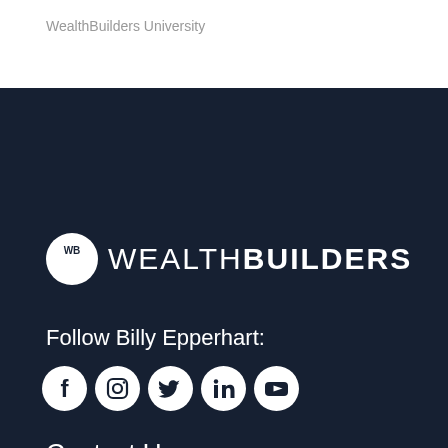WealthBuilders University
[Figure (logo): WealthBuilders logo: white circle with 'WB' text inside, followed by 'WEALTHBUILDERS' text in white on dark background]
Follow Billy Epperhart:
[Figure (infographic): Row of 5 circular social media icons: Facebook, Instagram, Twitter, LinkedIn, YouTube — all white icons on dark background]
Contact Us
5600 S Quebec St. Suite 130B
Greenwood Village, CO 80111